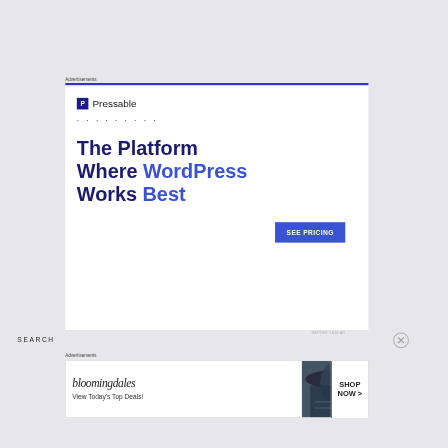Advertisements
[Figure (screenshot): Pressable advertisement: logo with 'P' icon and 'Pressable' text, decorative dots, large headline 'The Platform Where WordPress Works Best' with WordPress and Best in blue, and a 'SEE PRICING' button]
REPORT THIS AD
SEARCH
Advertisements
[Figure (screenshot): Bloomingdale's advertisement showing stylized 'bloomingdales' logo, 'View Today's Top Deals!' tagline, image of woman in hat, and 'SHOP NOW >' button]